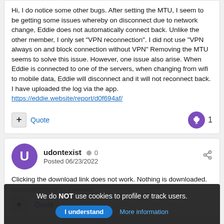Hi, I do notice some other bugs. After setting the MTU, I seem to be getting some issues whereby on disconnect due to network change, Eddie does not automatically connect back. Unlike the other member, I only set "VPN reconnection". I did not use "VPN always on and block connection without VPN" Removing the MTU seems to solve this issue. However, one issue also arise. When Eddie is connected to one of the servers, when changing from wifi to mobile data, Eddie will disconnect and it will not reconnect back. I have uploaded the log via the app. https://eddie.website/report/d0f694af/
udontexist  0
Posted 06/23/2022
Clicking the download link does not work. Nothing is downloaded.
Edited 06/23/2022 by udontexist
We do NOT use cookies to profile or track users.  I understand  More information